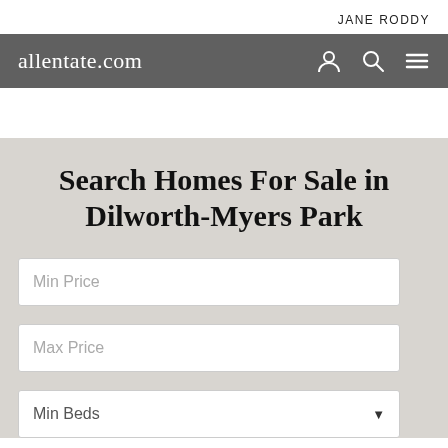JANE RODDY
[Figure (screenshot): allentate.com navigation bar with person icon, search icon, and hamburger menu icon on dark grey background]
Search Homes For Sale in Dilworth-Myers Park
Min Price
Max Price
Min Beds